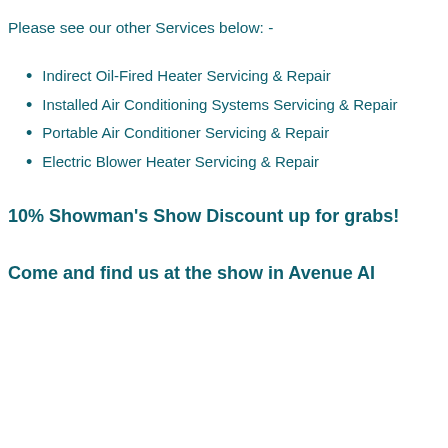Please see our other Services below: -
Indirect Oil-Fired Heater Servicing & Repair
Installed Air Conditioning Systems Servicing & Repair
Portable Air Conditioner Servicing & Repair
Electric Blower Heater Servicing & Repair
10% Showman's Show Discount up for grabs!
Come and find us at the show in Avenue AI